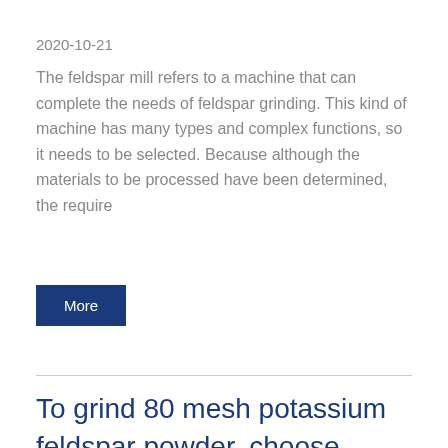2020-10-21
The feldspar mill refers to a machine that can complete the needs of feldspar grinding. This kind of machine has many types and complex functions, so it needs to be selected. Because although the materials to be processed have been determined, the require
More
To grind 80 mesh potassium feldspar powder, choose Raymond mill or ball